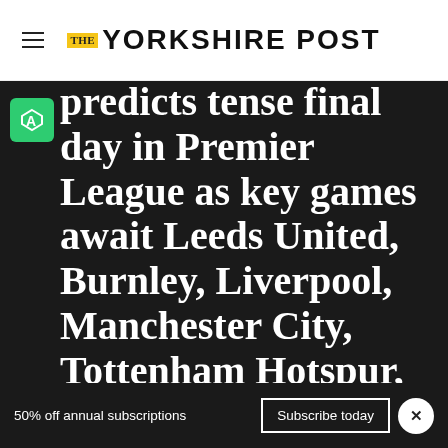THE YORKSHIRE POST
predicts tense final day in Premier League as key games await Leeds United, Burnley, Liverpool, Manchester City, Tottenham Hotspur, Arsenal and
50% off annual subscriptions  Subscribe today